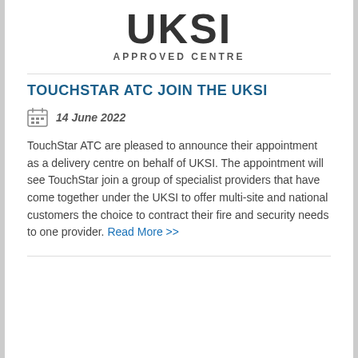[Figure (logo): UKSI Approved Centre logo — large bold letters 'UKSI' with 'APPROVED CENTRE' in small caps beneath]
TOUCHSTAR ATC JOIN THE UKSI
14 June 2022
TouchStar ATC are pleased to announce their appointment as a delivery centre on behalf of UKSI. The appointment will see TouchStar join a group of specialist providers that have come together under the UKSI to offer multi-site and national customers the choice to contract their fire and security needs to one provider. Read More >>